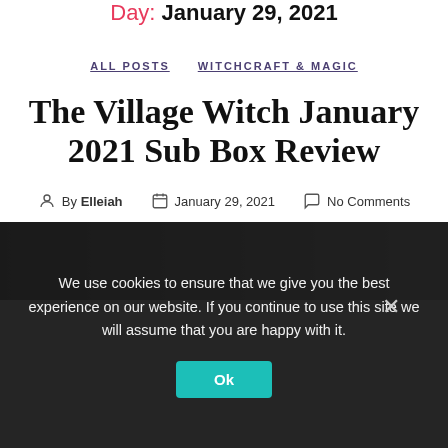Day: January 29, 2021
ALL POSTS   WITCHCRAFT & MAGIC
The Village Witch January 2021 Sub Box Review
By Elleiah   January 29, 2021   No Comments
[Figure (photo): Partial image strip showing a photo, partially visible at the bottom of the page]
We use cookies to ensure that we give you the best experience on our website. If you continue to use this site we will assume that you are happy with it.
Ok